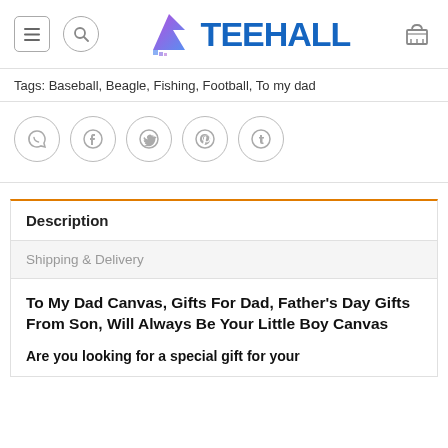TEEHALL
Tags: Baseball, Beagle, Fishing, Football, To my dad
[Figure (other): Social sharing icons row: WhatsApp, Facebook, Twitter, Pinterest, Tumblr]
Description
Shipping & Delivery
To My Dad Canvas, Gifts For Dad, Father's Day Gifts From Son, Will Always Be Your Little Boy Canvas

Are you looking for a special gift for your